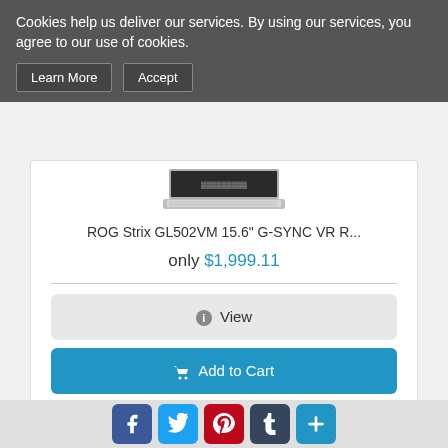Cookies help us deliver our services. By using our services, you agree to our use of cookies.
Learn More | Accept
[Figure (screenshot): Partial laptop image at top of product card]
ROG Strix GL502VM 15.6" G-SYNC VR R...
only $1,999.11
View
Add to Cart
[Figure (photo): Desktop computer monitor with keyboard and tower, partially visible]
[Figure (screenshot): Social media share bar with Facebook, Twitter, Pinterest, Tumblr, and plus icons]